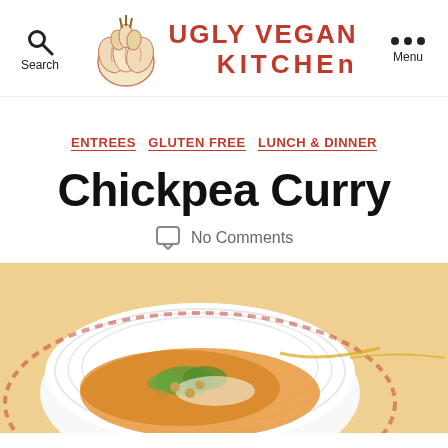[Figure (logo): Ugly Vegan Kitchen logo with garlic bulb illustration and red text reading UGLY VEGAN KITCHEN]
ENTREES  GLUTEN FREE  LUNCH & DINNER
Chickpea Curry
No Comments
[Figure (photo): Close-up photo of chickpea curry dish served in a white ribbed bowl on a decorative red and white plate, topped with fresh cilantro, with golden curry sauce visible]